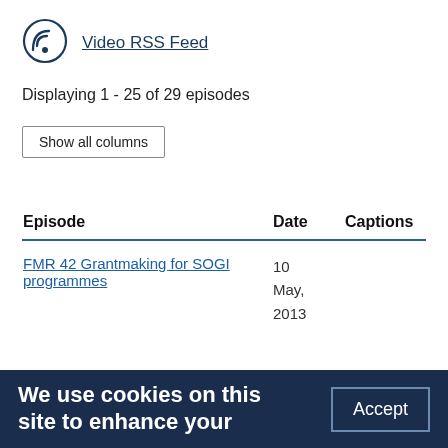[Figure (logo): Podcast/RSS icon: circle with wifi/broadcast symbol inside]
Video RSS Feed
Displaying 1 - 25 of 29 episodes
Show all columns
| Episode | Date | Captions |
| --- | --- | --- |
| FMR 42 Grantmaking for SOGI programmes | 10 May, 2013 |  |
We use cookies on this site to enhance your
Accept